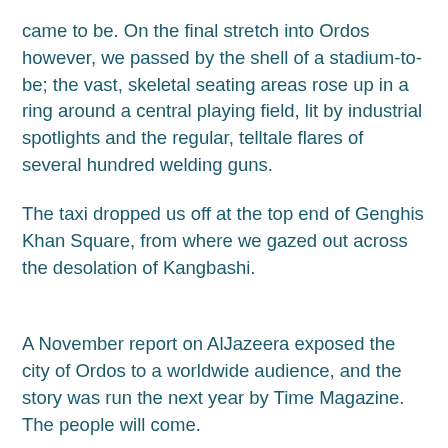came to be. On the final stretch into Ordos however, we passed by the shell of a stadium-to-be; the vast, skeletal seating areas rose up in a ring around a central playing field, lit by industrial spotlights and the regular, telltale flares of several hundred welding guns.
The taxi dropped us off at the top end of Genghis Khan Square, from where we gazed out across the desolation of Kangbashi.
A November report on AlJazeera exposed the city of Ordos to a worldwide audience, and the story was run the next year by Time Magazine. The people will come.
Ambling around the paths that lined the city centre, we passed small speakers mounted on stems, which blasted